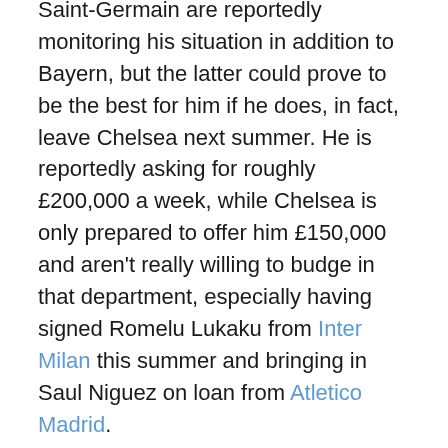Saint-Germain are reportedly monitoring his situation in addition to Bayern, but the latter could prove to be the best for him if he does, in fact, leave Chelsea next summer. He is reportedly asking for roughly £200,000 a week, while Chelsea is only prepared to offer him £150,000 and aren't really willing to budge in that department, especially having signed Romelu Lukaku from Inter Milan this summer and bringing in Saul Niguez on loan from Atletico Madrid.
Tuchel would still very much like to keep hold of Rudiger, but he said that it comes down to what the club decides. He can't really have any say in the contract negotiation process as that's primarily dealt with by the club's front office. "I hope that they find solutions, but it's not only between coaches and players, and what we wish for. And that's why it's between the club, the player's agent at the moment